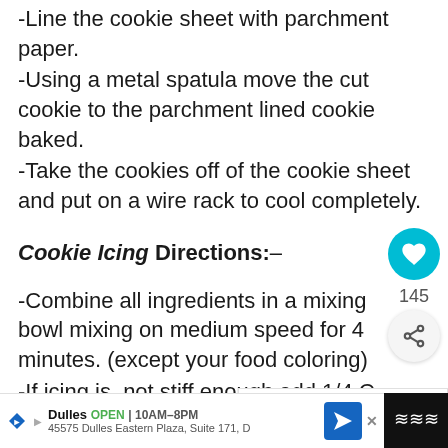-Line the cookie sheet with parchment paper.
-Using a metal spatula move the cut cookie to the parchment lined cookie baked.
-Take the cookies off of the cookie sheet and put on a wire rack to cool completely.
Cookie Icing Directions:–
-Combine all ingredients in a mixing bowl mixing on medium speed for 4 minutes. (except your food coloring)
-If icing is not stiff enough add 1/4 C powder sugar.
-The bowl of icing remains white.